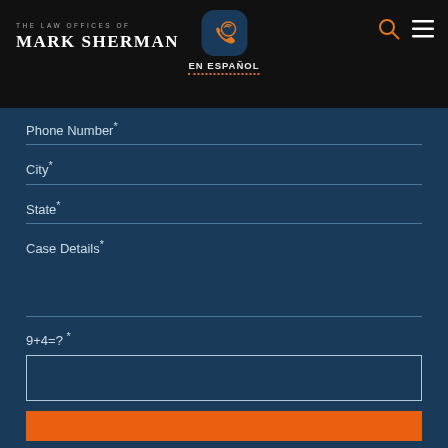THE LAW OFFICES OF MARK SHERMAN — EN ESPAÑOL
Phone Number*
City*
State*
Case Details*
9+4=?*